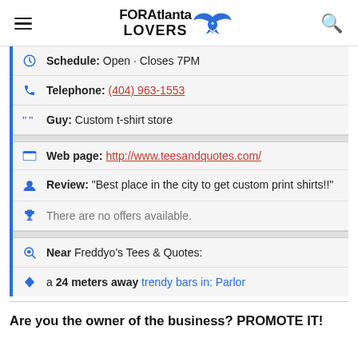FOR Atlanta LOVERS
Schedule: Open · Closes 7PM
Telephone: (404) 963-1553
Guy: Custom t-shirt store
Web page: http://www.teesandquotes.com/
Review: "Best place in the city to get custom print shirts!!"
There are no offers available.
Near Freddyo's Tees & Quotes:
a 24 meters away trendy bars in: Parlor
Are you the owner of the business? PROMOTE IT!